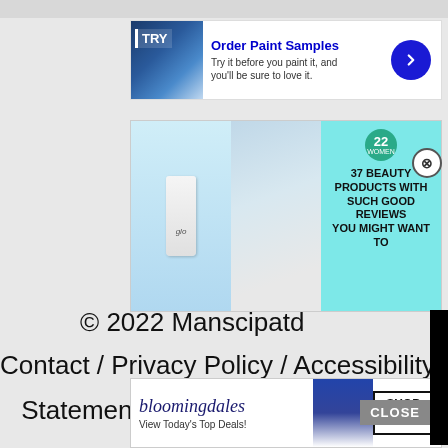[Figure (screenshot): Advertisement banner: 'Order Paint Samples - Try it before you paint it, and you'll be sure to love it.' with blue arrow button]
[Figure (screenshot): Advertisement: '37 BEAUTY PRODUCTS WITH SUCH GOOD REVIEWS YOU MIGHT WANT TO' with teal background, beauty product bottle and woman image, badge showing 22]
[Figure (screenshot): Black video overlay covering part of page]
© 2022 Manscipatd
Contact / Privacy Policy / Accessibility
Statement / Disclaimer / L
[Figure (screenshot): Bloomingdales advertisement: 'View Today's Top Deals!' with SHOP NOW > button]